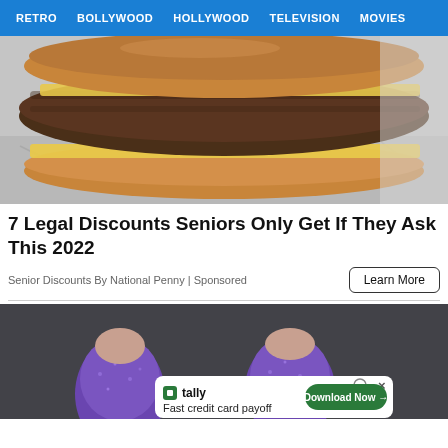RETRO  BOLLYWOOD  HOLLYWOOD  TELEVISION  MOVIES
[Figure (photo): Close-up photo of a burger with cheese on crinkled foil wrapper]
7 Legal Discounts Seniors Only Get If They Ask This 2022
Senior Discounts By National Penny | Sponsored
[Figure (photo): Close-up photo of toes in purple/blue rhinestone-covered coverings against a dark background, with a Tally advertisement overlay at the bottom reading: Fast credit card payoff / Download Now →]